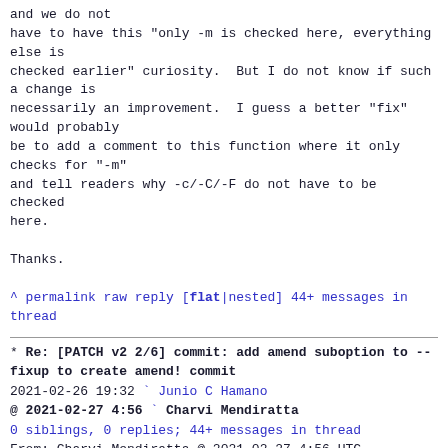and we do not
have to have this "only -m is checked here, everything else is
checked earlier" curiosity.  But I do not know if such a change is
necessarily an improvement.  I guess a better "fix" would probably
be to add a comment to this function where it only checks for "-m"
and tell readers why -c/-C/-F do not have to be checked here.

Thanks.
^ permalink raw reply   [flat|nested] 44+ messages in thread
* Re: [PATCH v2 2/6] commit: add amend suboption to --fixup to create amend! commit
  2021-02-26 19:32        ` Junio C Hamano
@ 2021-02-27  4:56        ` Charvi Mendiratta
  0 siblings, 0 replies; 44+ messages in thread
From: Charvi Mendiratta @ 2021-02-27  4:56 UTC
(permalink / raw)
  To: Junio C Hamano
  Cc: git, Christian Couder, Phillip Wood, Christian Couder, Phillip Wood